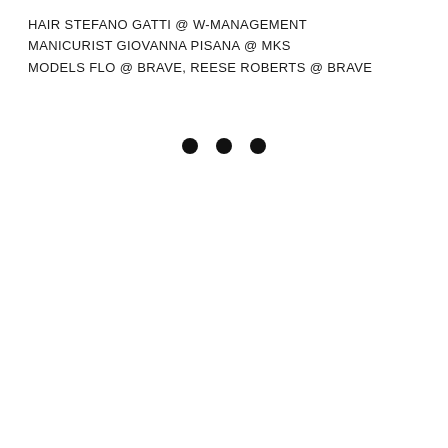HAIR STEFANO GATTI @ W-MANAGEMENT
MANICURIST GIOVANNA PISANA @ MKS
MODELS FLO @ BRAVE, REESE ROBERTS @ BRAVE
[Figure (other): Three large black filled circles arranged horizontally, centered on the page]